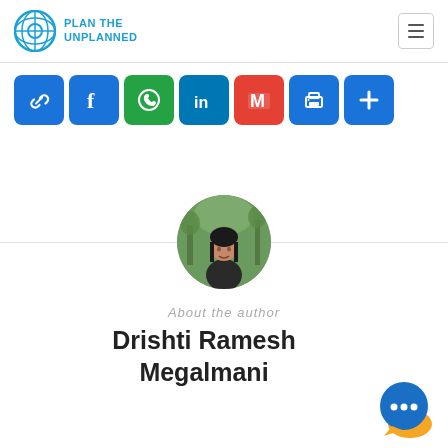PLAN THE UNPLANNED
[Figure (screenshot): Social share icons row: link, Facebook, WhatsApp, LinkedIn, Gmail, print, plus]
[Figure (photo): Circular profile photo of Drishti Ramesh Megalmani, a woman standing outdoors with green trees in background]
About the author
Drishti Ramesh Megalmani